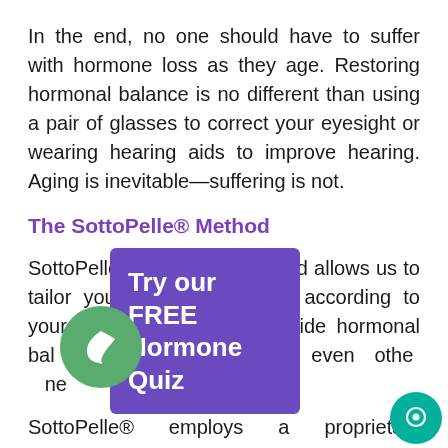In the end, no one should have to suffer with hormone loss as they age. Restoring hormonal balance is no different than using a pair of glasses to correct your eyesight or wearing hearing aids to improve hearing. Aging is inevitable—suffering is not.
The SottoPelle® Method
SottoPelle's proprietary method allows us to tailor your hormone therapy according to your unique needs to provide hormonal balance using methods or even other methods cannot deliver.
SottoPelle® employs a proprietary bioidentical pellet implant method that sends a steady,